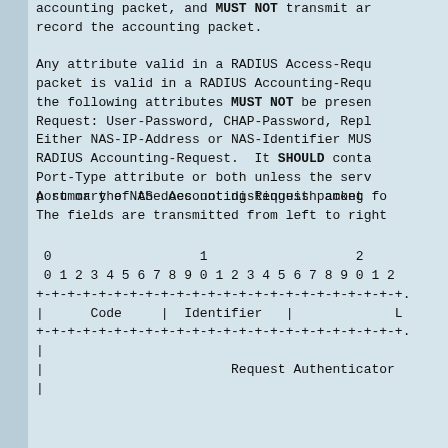accounting packet, and MUST NOT transmit an
record the accounting packet.
Any attribute valid in a RADIUS Access-Requ
packet is valid in a RADIUS Accounting-Requ
the following attributes MUST NOT be presen
Request: User-Password, CHAP-Password, Repl
Either NAS-IP-Address or NAS-Identifier MUS
RADIUS Accounting-Request.  It SHOULD conta
Port-Type attribute or both unless the serv
port or the NAS does not distinguish among
A summary of the Accounting-Request packet fo
The fields are transmitted from left to right
[Figure (schematic): Packet format diagram showing bit-field layout with Code, Identifier, and Request Authenticator fields. Rows: bit numbers 0-2 across top, separator lines, Code | Identifier | [Length], separator, Request Authenticator field.]